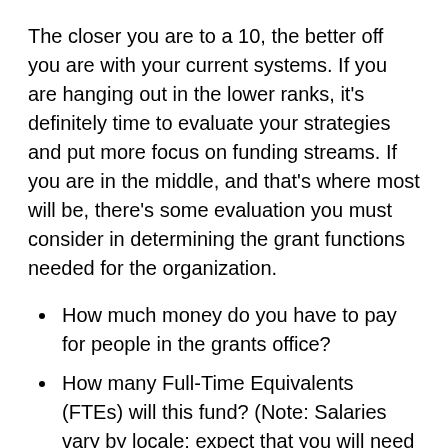The closer you are to a 10, the better off you are with your current systems. If you are hanging out in the lower ranks, it's definitely time to evaluate your strategies and put more focus on funding streams. If you are in the middle, and that's where most will be, there's some evaluation you must consider in determining the grant functions needed for the organization.
How much money do you have to pay for people in the grants office?
How many Full-Time Equivalents (FTEs) will this fund? (Note: Salaries vary by locale; expect that you will need to hire a director (management-level) or higher experience level for the person overseeing your grants